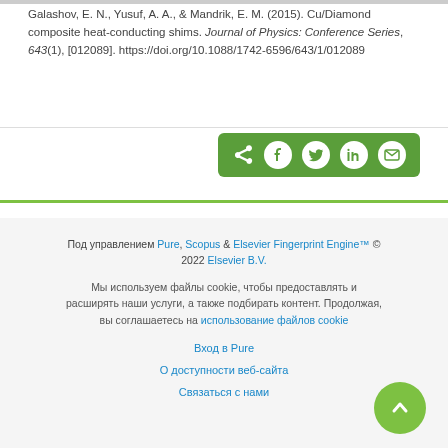Galashov, E. N., Yusuf, A. A., & Mandrik, E. M. (2015). Cu/Diamond composite heat-conducting shims. Journal of Physics: Conference Series, 643(1), [012089]. https://doi.org/10.1088/1742-6596/643/1/012089
[Figure (other): Social share bar with icons for share, Facebook, Twitter, LinkedIn, and email on a green background]
Под управлением Pure, Scopus & Elsevier Fingerprint Engine™ © 2022 Elsevier B.V.
Мы используем файлы cookie, чтобы предоставлять и расширять наши услуги, а также подбирать контент. Продолжая, вы соглашаетесь на использование файлов cookie
Вход в Pure
О доступности веб-сайта
Связаться с нами